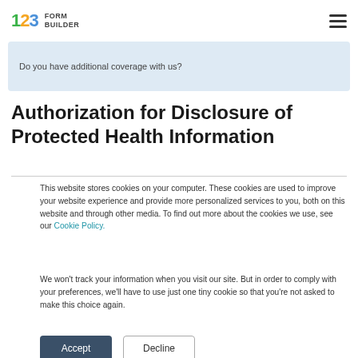123 FORM BUILDER
[Figure (screenshot): Partial form preview with light blue background showing a field label: 'Do you have additional coverage with us?']
Authorization for Disclosure of Protected Health Information
This website stores cookies on your computer. These cookies are used to improve your website experience and provide more personalized services to you, both on this website and through other media. To find out more about the cookies we use, see our Cookie Policy.
We won't track your information when you visit our site. But in order to comply with your preferences, we'll have to use just one tiny cookie so that you're not asked to make this choice again.
Accept | Decline